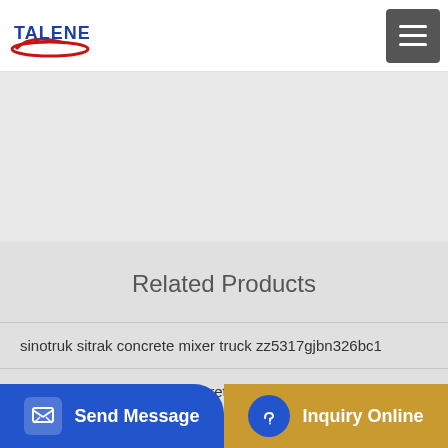TALENET
[Figure (screenshot): Talenet company logo with red swoosh and blue text, hamburger menu icon on top right]
[Figure (photo): Gray banner area - product image placeholder]
Related Products
sinotruk sitrak concrete mixer truck zz5317gjbn326bc1
China Dongfeng 15m3 Concrete Mixer Truck Cement Mixer
...cf mix...
Send Message
Inquiry Online